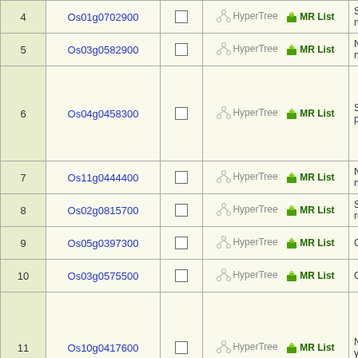| # | Gene ID | Select | Tools | Description |
| --- | --- | --- | --- | --- |
| 4 | Os01g0702900 |  | HyperTree MR List | Sim ntha |
| 5 | Os03g0582900 |  | HyperTree MR List | Nor ncha |
| 6 | Os04g0458300 |  | HyperTree MR List | Sim pro |
| 7 | Os11g0444400 |  | HyperTree MR List | Nor ncla |
| 8 | Os02g0815700 |  | HyperTree MR List | Sim recu |
| 9 | Os05g0397300 |  | HyperTree MR List | Con |
| 10 | Os03g0575500 |  | HyperTree MR List | Con |
| 11 | Os10g0417600 |  | HyperTree MR List | NA ydra |